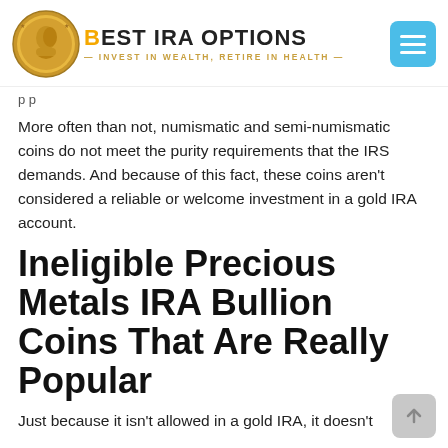BEST IRA OPTIONS — INVEST IN WEALTH, RETIRE IN HEALTH
p p
More often than not, numismatic and semi-numismatic coins do not meet the purity requirements that the IRS demands. And because of this fact, these coins aren't considered a reliable or welcome investment in a gold IRA account.
Ineligible Precious Metals IRA Bullion Coins That Are Really Popular
Just because it isn't allowed in a gold IRA, it doesn't